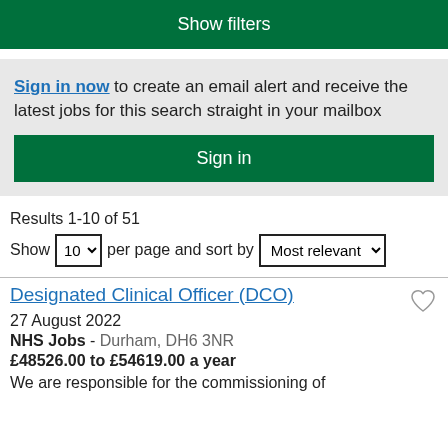Show filters
Sign in now to create an email alert and receive the latest jobs for this search straight in your mailbox
Sign in
Results 1-10 of 51
Show 10 per page and sort by Most relevant
Designated Clinical Officer (DCO)
27 August 2022
NHS Jobs - Durham, DH6 3NR
£48526.00 to £54619.00 a year
We are responsible for the commissioning of